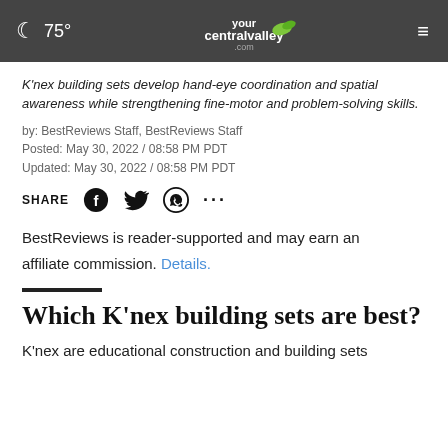75° yourcentralvalley.com
K'nex building sets develop hand-eye coordination and spatial awareness while strengthening fine-motor and problem-solving skills.
by: BestReviews Staff, BestReviews Staff
Posted: May 30, 2022 / 08:58 PM PDT
Updated: May 30, 2022 / 08:58 PM PDT
SHARE
BestReviews is reader-supported and may earn an affiliate commission. Details.
Which K'nex building sets are best?
K'nex are educational construction and building sets